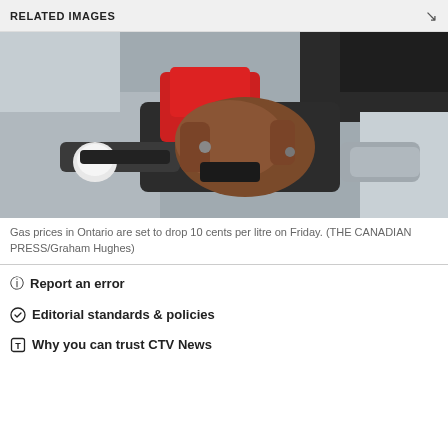RELATED IMAGES
[Figure (photo): Close-up of a hand holding a red and black gas pump nozzle inserted into a vehicle fuel tank]
Gas prices in Ontario are set to drop 10 cents per litre on Friday. (THE CANADIAN PRESS/Graham Hughes)
Report an error
Editorial standards & policies
Why you can trust CTV News